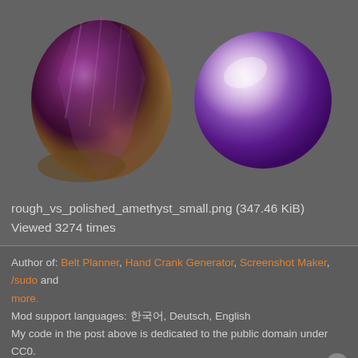[Figure (photo): Two amethyst images side by side: rough purple amethyst crystal cluster on left, polished purple amethyst sphere on right, on dark gray background]
rough_vs_polished_amethyst_small.png (347.46 KiB)
Viewed 3274 times
Author of: Belt Planner, Hand Crank Generator, Screenshot Maker, /sudo and more.
Mod support languages: 한국어, Deutsch, English
My code in the post above is dedicated to the public domain under CC0.
TheVeteraNoob
Long Handed Inserter
[Figure (photo): Small avatar image of a red creature/character]
Re: Friday Facts #266 – Cleanup of mechanics
Sat Oct 27, 2018 12:27 pm
Getting my unread two cents in here. I feel like if the goal is to simplify a little than assembler 1 should have 3